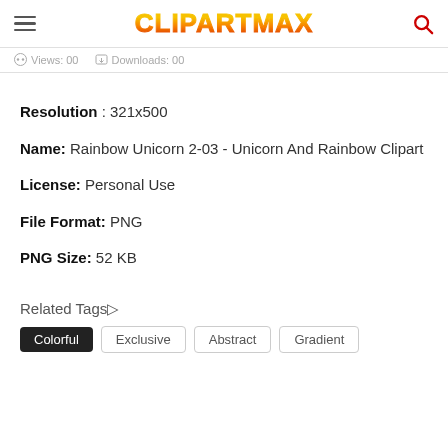CLIPARTMAX
Views: 00   Downloads: 00
Resolution : 321x500
Name:  Rainbow Unicorn 2-03 - Unicorn And Rainbow Clipart
License:  Personal Use
File Format:  PNG
PNG Size:  52 KB
Related Tags▷
Colorful   Exclusive   Abstract   Gradient